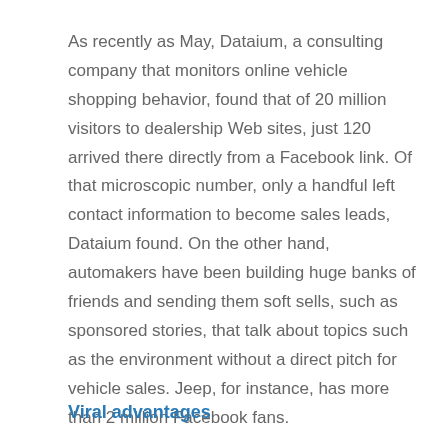As recently as May, Dataium, a consulting company that monitors online vehicle shopping behavior, found that of 20 million visitors to dealership Web sites, just 120 arrived there directly from a Facebook link. Of that microscopic number, only a handful left contact information to become sales leads, Dataium found. On the other hand, automakers have been building huge banks of friends and sending them soft sells, such as sponsored stories, that talk about topics such as the environment without a direct pitch for vehicle sales. Jeep, for instance, has more than 2 million Facebook fans.
Viral advantages